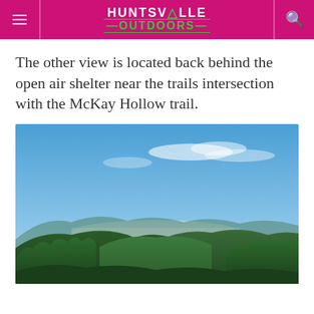HUNTSVILLE OUTDOORS
The other view is located back behind the open air shelter near the trails intersection with the McKay Hollow trail.
[Figure (photo): Outdoor mountain landscape photo showing a panoramic view of green forested hills and mountains under a clear blue sky, with a valley and slight mist visible in the distance, taken from an elevated vantage point.]